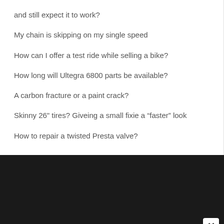and still expect it to work?
My chain is skipping on my single speed
How can I offer a test ride while selling a bike?
How long will Ultegra 6800 parts be available?
A carbon fracture or a paint crack?
Skinny 26" tires? Giveing a small fixie a “faster” look
How to repair a twisted Presta valve?
[Figure (screenshot): Dark black section of a webpage, with a white close button (x) in the bottom right corner.]
[Figure (infographic): Advertisement banner for CVS Photo: red CVS pharmacy logo on left, text 'Photo Deals At CVS®' and 'CVS Photo' in the middle, blue diamond arrow icon on right. Play and close controls on the left edge.]